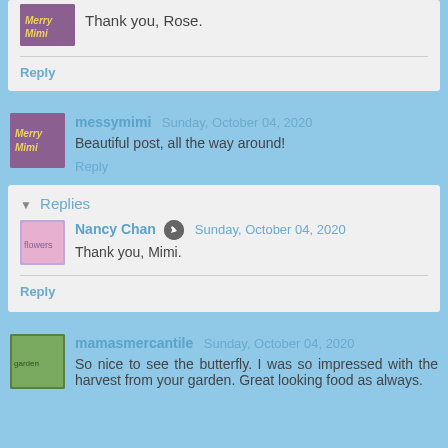Thank you, Rose.
Reply
messymimi  Sunday, October 04, 2020
Beautiful post, all the way around!
Reply
Replies
Nancy Chan  Sunday, October 04, 2020
Thank you, Mimi.
Reply
mamasmercantile  Sunday, October 04, 2020
So nice to see the butterfly. I was so impressed with the harvest from your garden. Great looking food as always.